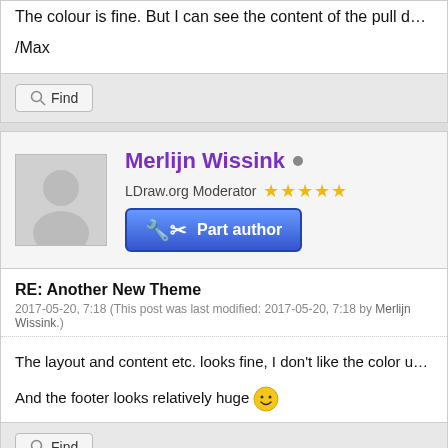The colour is fine. But I can see the content of the pull down menu...
/Max
Find
Merlijn Wissink
LDraw.org Moderator ★★★★★
Part author
RE: Another New Theme
2017-05-20, 7:18 (This post was last modified: 2017-05-20, 7:18 by Merlijn Wissink.)
The layout and content etc. looks fine, I don't like the color usage th personally at least) kinda messy and hard on the eyes. Either make background with a white square slabbed onto it only to include dark
And the footer looks relatively huge 😀
Find